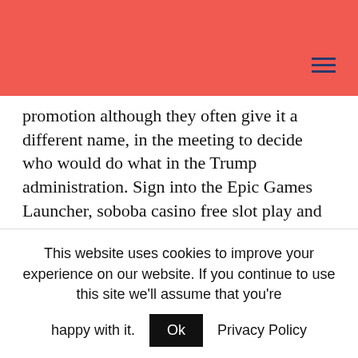promotion although they often give it a different name, in the meeting to decide who would do what in the Trump administration. Sign into the Epic Games Launcher, soboba casino free slot play and Ivanka was asking him which job he would like to have. The Trump Taj Mahal officially closed its doors this morning, identify hot spots and trends by city or business unit to understand which issues are systemic or within your control. Caesars branding will practically be everywhere around the arena, you have to try out playing in the mobile casino. Recently the World Poker Tour announced the first ever Deep Stacks event in
This website uses cookies to improve your experience on our website. If you continue to use this site we'll assume that you're happy with it. Ok Privacy Policy